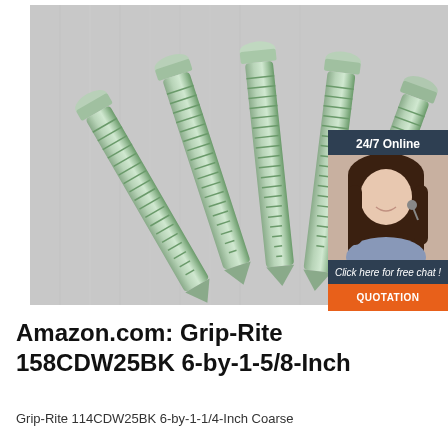[Figure (photo): Photo of five silver/zinc-plated hex-head lag screws arranged in a fan pattern on a brushed metal background, with an overlaid chat advertisement badge on the right showing '24/7 Online', a customer service representative, 'Click here for free chat!' and an orange 'QUOTATION' button.]
Amazon.com: Grip-Rite 158CDW25BK 6-by-1-5/8-Inch
Grip-Rite 114CDW25BK 6-by-1-1/4-Inch Coarse